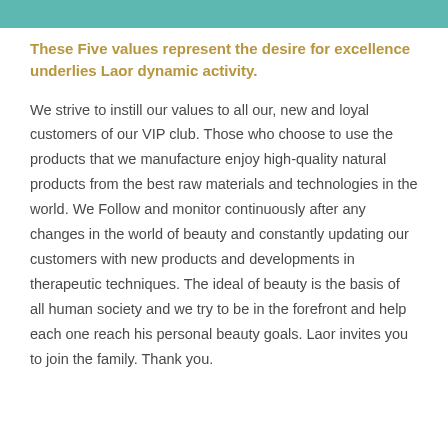These Five values represent the desire for excellence underlies Laor dynamic activity.
We strive to instill our values to all our, new and loyal customers of our VIP club. Those who choose to use the products that we manufacture enjoy high-quality natural products from the best raw materials and technologies in the world. We Follow and monitor continuously after any changes in the world of beauty and constantly updating our customers with new products and developments in therapeutic techniques. The ideal of beauty is the basis of all human society and we try to be in the forefront and help each one reach his personal beauty goals. Laor invites you to join the family. Thank you.